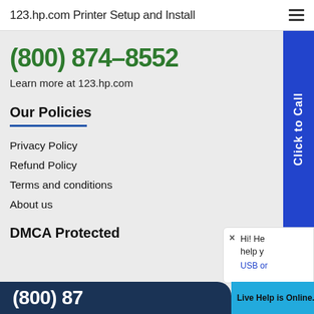123.hp.com Printer Setup and Install
(800) 874-8552
Learn more at 123.hp.com
Our Policies
Privacy Policy
Refund Policy
Terms and conditions
About us
DMCA Protected
(800) 87...
Live Help is Online.